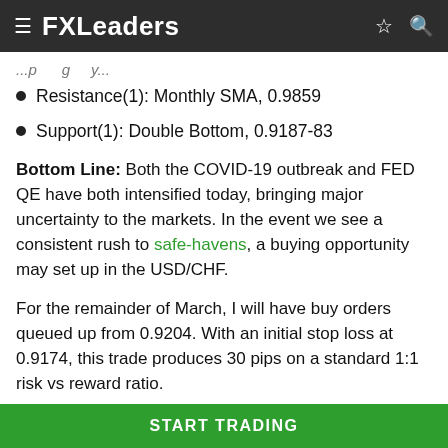FXLeaders
Resistance(1): Monthly SMA, 0.9859
Support(1): Double Bottom, 0.9187-83
Bottom Line: Both the COVID-19 outbreak and FED QE have both intensified today, bringing major uncertainty to the markets. In the event we see a consistent rush to safe-havens, a buying opportunity may set up in the USD/CHF.
For the remainder of March, I will have buy orders queued up from 0.9204. With an initial stop loss at 0.9174, this trade produces 30 pips on a standard 1:1 risk vs reward ratio.
START TRADING